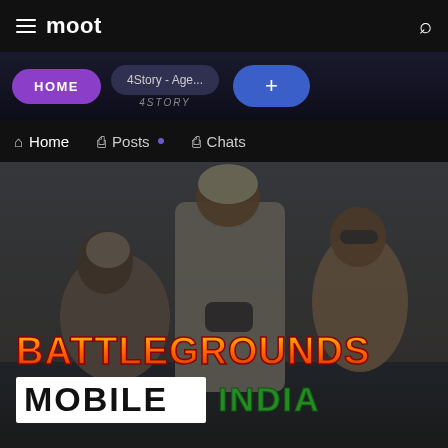moot
[Figure (screenshot): Moot app interface showing HOME tab, 4Story - Age... tab, and + tab in the navigation bar]
Home  Posts  Chats
[Figure (photo): Battlegrounds Mobile India game promotional image showing three characters in military gear with text BATTLEGROUNDS MOBILE INDIA]